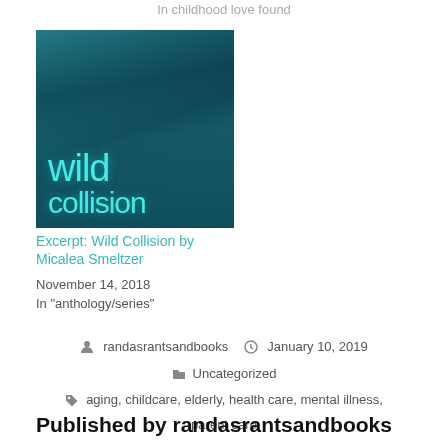In childhood love found
[Figure (photo): Book cover for 'Wild Collision' showing teal/cyan text on a dark teal background with abstract figures]
Excerpt: Wild Collision by Micalea Smeltzer
November 14, 2018
In "anthology/series"
randasrantsandbooks
January 10, 2019
Uncategorized
aging, childcare, elderly, health care, mental illness, parent care
Published by randasrantsandbooks